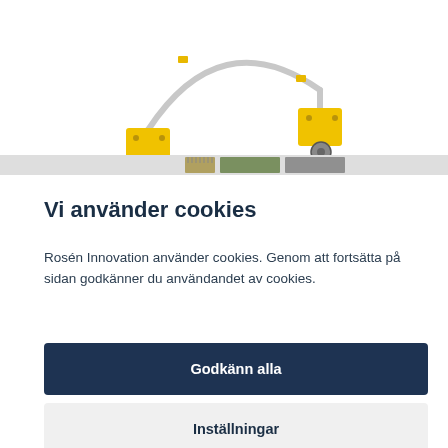[Figure (photo): A wheeled cart/trolley with a silver metal frame and two yellow square mounting blocks with small grey wheels on each side, photographed on white background. Below it is a thin strip showing product thumbnail images.]
Vi använder cookies
Rosén Innovation använder cookies. Genom att fortsätta på sidan godkänner du användandet av cookies.
Godkänn alla
Inställningar